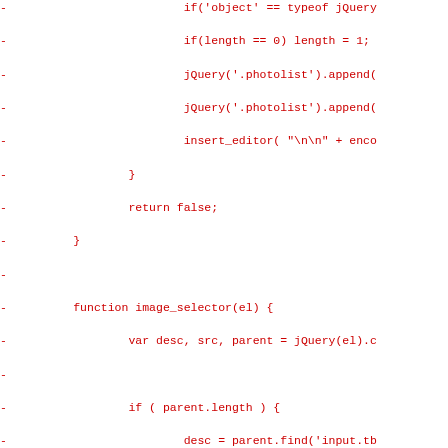[Figure (screenshot): Code diff snippet showing removed lines (prefixed with '-') in red monospace font on white background. The code is JavaScript/PHP showing image_selector function and jQuery operations.]